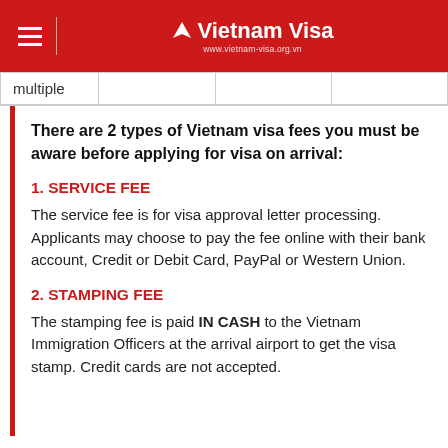Vietnam Visa — www.vietnam-visa.org.vn
| multiple |  |  |  |
There are 2 types of Vietnam visa fees you must be aware before applying for visa on arrival:
1. SERVICE FEE
The service fee is for visa approval letter processing. Applicants may choose to pay the fee online with their bank account, Credit or Debit Card, PayPal or Western Union.
2. STAMPING FEE
The stamping fee is paid IN CASH to the Vietnam Immigration Officers at the arrival airport to get the visa stamp. Credit cards are not accepted.